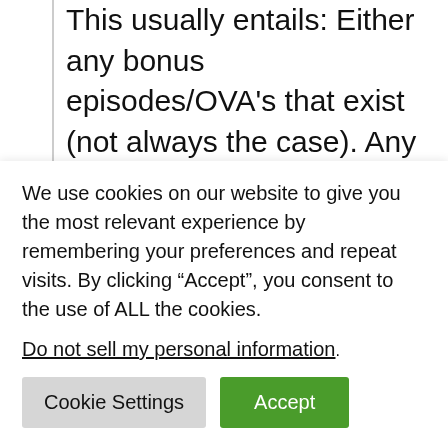This usually entails: Either any bonus episodes/OVA's that exist (not always the case). Any extras that come with a BD release (usually some small artwork).
Is Blu-Ray anime better than streaming?
Blu-rays are better quality than streaming, it's true, but to be honest
We use cookies on our website to give you the most relevant experience by remembering your preferences and repeat visits. By clicking “Accept”, you consent to the use of ALL the cookies.
Do not sell my personal information.